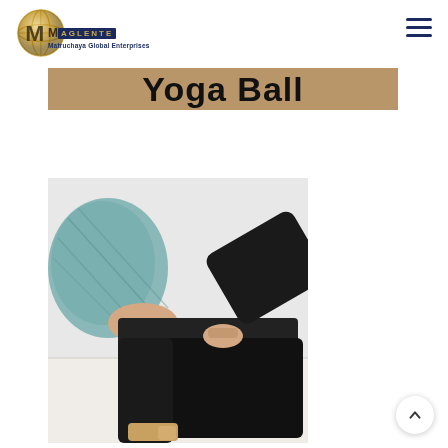[Figure (logo): Maglente (Matruchaya Global Enterprises) logo with globe icon and company name]
Yoga Ball
[Figure (photo): Person performing a yoga or stretching exercise, wearing a blue top and black pants, with a yoga prop visible]
[Figure (other): Back to top button with upward chevron arrow]